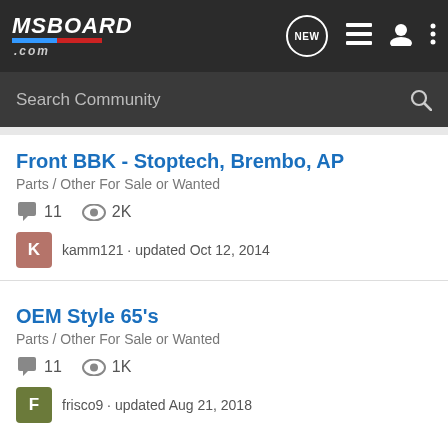MSBOARD.com - Search Community
Front BBK - Stoptech, Brembo, AP
Parts / Other For Sale or Wanted
11 replies · 2K views · kamm121 · updated Oct 12, 2014
OEM Style 65's
Parts / Other For Sale or Wanted
11 replies · 1K views · frisco9 · updated Aug 21, 2018
OEM Steering Wheel...